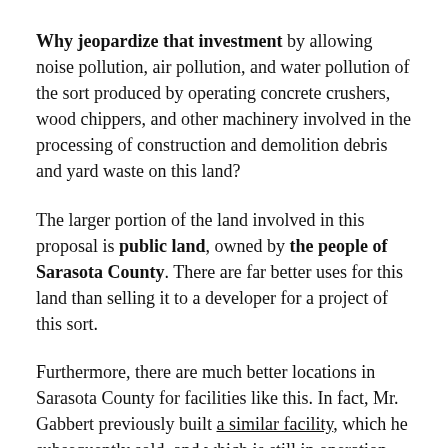Why jeopardize that investment by allowing noise pollution, air pollution, and water pollution of the sort produced by operating concrete crushers, wood chippers, and other machinery involved in the processing of construction and demolition debris and yard waste on this land?
The larger portion of the land involved in this proposal is public land, owned by the people of Sarasota County. There are far better uses for this land than selling it to a developer for a project of this sort.
Furthermore, there are much better locations in Sarasota County for facilities like this. In fact, Mr. Gabbert previously built a similar facility, which he subsequently sold, and which is still in operation today.
Here are some recent photos from that facility